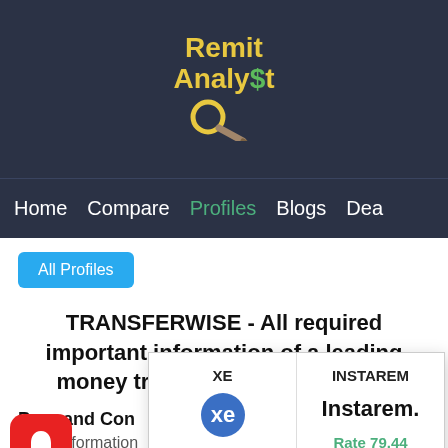[Figure (logo): RemitAnalyst logo with magnifying glass icon on dark navy background]
Home   Compare   Profiles   Blogs   Dea
All Profiles
TRANSFERWISE - All required important information of a leading money transfer service provider
[Figure (infographic): Popup showing XE (Rate 79.51) and INSTAREM (Rate 79.44) comparison]
Pros and Con
more information